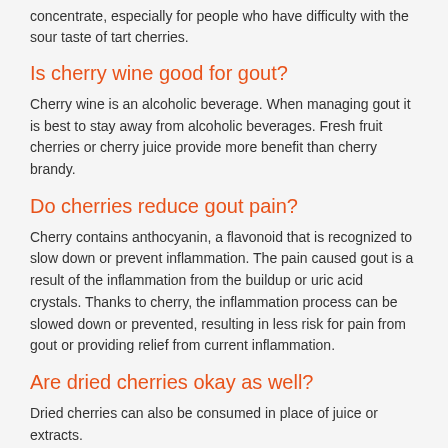concentrate, especially for people who have difficulty with the sour taste of tart cherries.
Is cherry wine good for gout?
Cherry wine is an alcoholic beverage. When managing gout it is best to stay away from alcoholic beverages. Fresh fruit cherries or cherry juice provide more benefit than cherry brandy.
Do cherries reduce gout pain?
Cherry contains anthocyanin, a flavonoid that is recognized to slow down or prevent inflammation. The pain caused gout is a result of the inflammation from the buildup or uric acid crystals. Thanks to cherry, the inflammation process can be slowed down or prevented, resulting in less risk for pain from gout or providing relief from current inflammation.
Are dried cherries okay as well?
Dried cherries can also be consumed in place of juice or extracts.